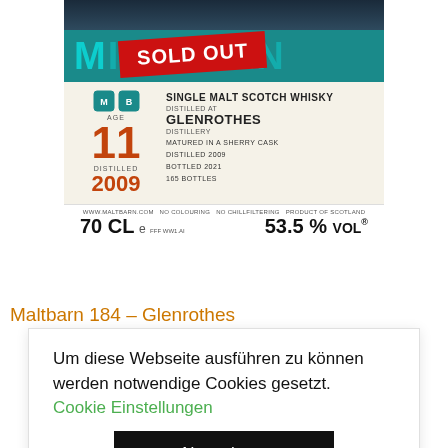[Figure (photo): Maltbarn single malt scotch whisky bottle label showing 'SOLD OUT' banner in red, teal brand name, age 11, distilled 2009, Glenrothes distillery details, 70cl 53.5% vol]
Maltbarn 184 – Glenrothes
Um diese Webseite ausführen zu können werden notwendige Cookies gesetzt.
Cookie Einstellungen
Akzeptieren
70 cl e 53.5% alc /vol